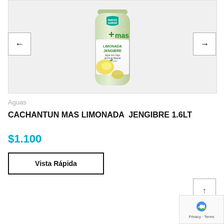[Figure (photo): Product photo of Cachantun Mas Limonada Jengibre 1.6L bottle - a green/clear bottle with lemon and ginger imagery, brand logo '+mas' in green, label reads LIMONADA JENGIBRE, Agua con Jugo de Fruta Natural, Sin Gas]
Aguas
CACHANTUN MAS LIMONADA JENGIBRE 1.6LT
$1.100
Vista Rápida
[Figure (logo): reCAPTCHA logo with Privacy and Terms text]